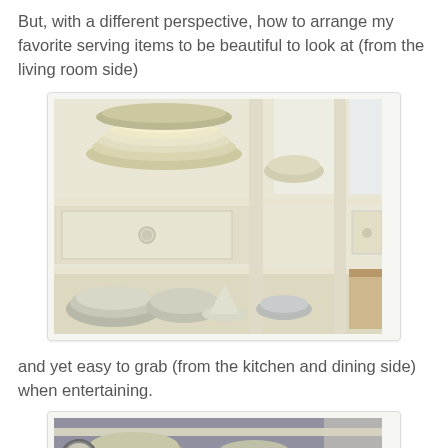But, with a different perspective, how to arrange my favorite serving items to be beautiful to look at (from the living room side)
[Figure (photo): Photo of a white painted hutch/sideboard with open shelves displaying stacked plates, bowls, and serving dishes arranged neatly.]
and yet easy to grab (from the kitchen and dining side) when entertaining.
[Figure (photo): Photo of the same hutch viewed from the other side, showing bowls and dishes visible from the kitchen/dining side.]